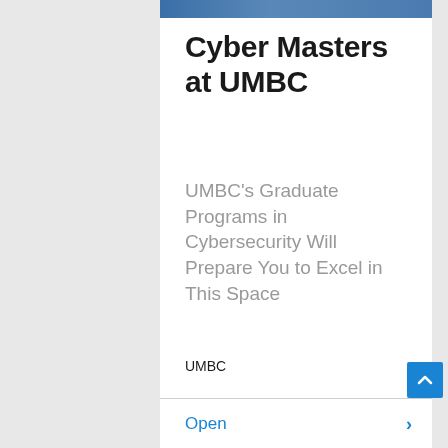[Figure (photo): Partial photo strip at top of card showing a person, cropped]
Cyber Masters at UMBC
UMBC's Graduate Programs in Cybersecurity Will Prepare You to Excel in This Space
UMBC
Open